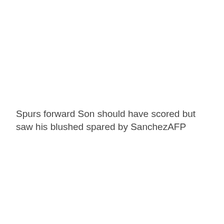Spurs forward Son should have scored but saw his blushed spared by SanchezAFP